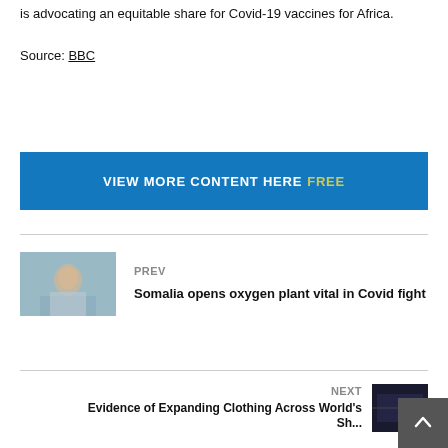is advocating an equitable share for Covid-19 vaccines for Africa.
Source: BBC
VIEW MORE CONTENT HERE FREE
[Figure (photo): Thumbnail image of a woman in a blue-tinted indoor setting]
PREV
Somalia opens oxygen plant vital in Covid fight
NEXT
Evidence of Expanding Clothing Across World's Sh...